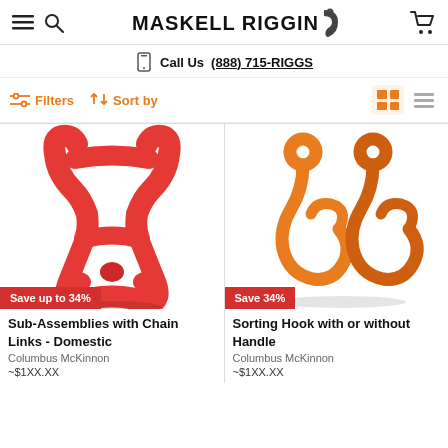Maskell Rigging - navigation header with hamburger menu, search, logo, and cart icon
Call Us (888) 715-RIGGS
Filters  Sort by  [grid view] [list view]
[Figure (photo): Red sub-assembly chain link rigging hardware product image]
Save up to 34%
Sub-Assemblies with Chain Links - Domestic
Columbus McKinnon
[Figure (photo): Orange sorting hooks (two hooks) rigging hardware product image]
Save 34%
Sorting Hook with or without Handle
Columbus McKinnon